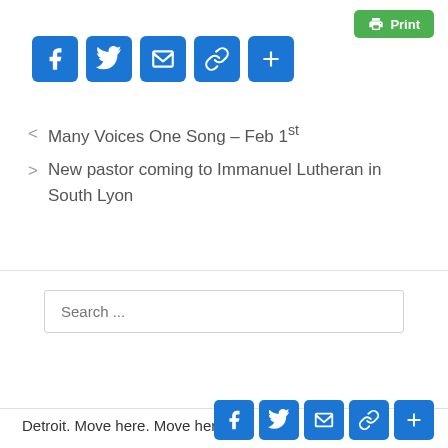[Figure (infographic): Print button (green, top right)]
[Figure (infographic): Social share icons: Facebook, Twitter, Email, Link, Plus (blue, top left)]
< Many Voices One Song – Feb 1st
> New pastor coming to Immanuel Lutheran in South Lyon
Search ...
Detroit. Move here. Move here.
[Figure (infographic): Social share icons: Facebook, Twitter, Email, Link, Plus (blue, bottom right)]